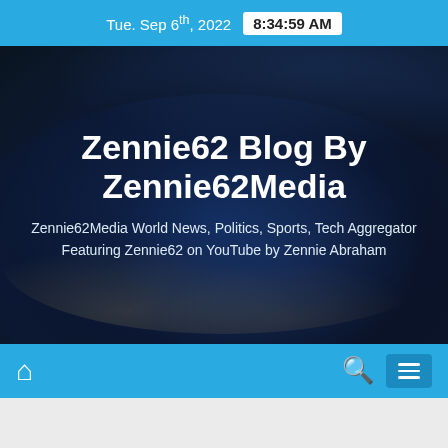Tue. Sep 6th, 2022  8:34:59 AM
Zennie62 Blog By Zennie62Media
Zennie62Media World News, Politics, Sports, Tech Aggregator Featuring Zennie62 on YouTube by Zennie Abraham
NEWS  PETE HARBOR  ZENNIE62 NEWS